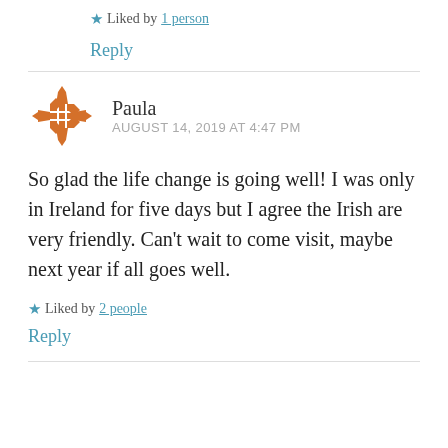★ Liked by 1 person
Reply
Paula
AUGUST 14, 2019 AT 4:47 PM
So glad the life change is going well! I was only in Ireland for five days but I agree the Irish are very friendly. Can't wait to come visit, maybe next year if all goes well.
★ Liked by 2 people
Reply